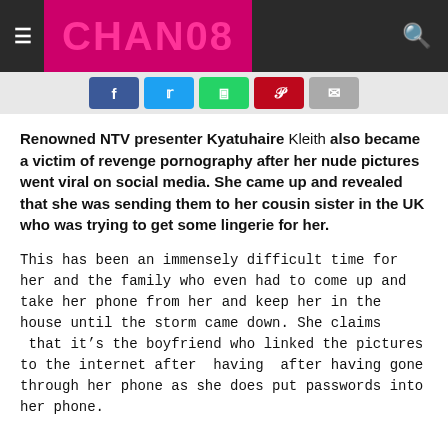CHAN08
Renowned NTV presenter Kyatuhaire Kleith also became a victim of revenge pornography after her nude pictures went viral on social media. She came up and revealed that she was sending them to her cousin sister in the UK who was trying to get some lingerie for her.
This has been an immensely difficult time for her and the family who even had to come up and take her phone from her and keep her in the house until the storm came down. She claims that it’s the boyfriend who linked the pictures to the internet after having after having gone through her phone as she does put passwords into her phone.